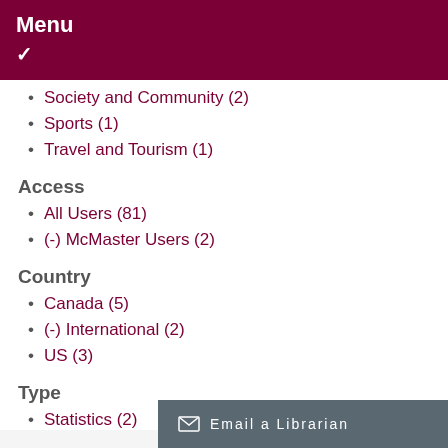Menu
Society and Community (2)
Sports (1)
Travel and Tourism (1)
Access
All Users (81)
(-) McMaster Users (2)
Country
Canada (5)
(-) International (2)
US (3)
Type
Statistics (2)
Email a Librarian